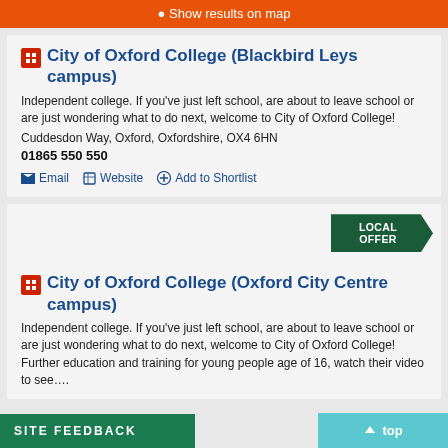Show results on map
City of Oxford College (Blackbird Leys campus)
Independent college. If you've just left school, are about to leave school or are just wondering what to do next, welcome to City of Oxford College!
Cuddesdon Way, Oxford, Oxfordshire, OX4 6HN
01865 550 550
Email
Website
Add to Shortlist
City of Oxford College (Oxford City Centre campus)
Independent college. If you've just left school, are about to leave school or are just wondering what to do next, welcome to City of Oxford College! Further education and training for young people age of 16, watch their video to see….
Site feedback
top